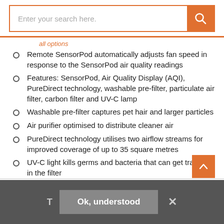[Figure (screenshot): Search bar with orange border and orange search button containing a magnifying glass icon. Placeholder text reads 'Enter your search here.']
Remote SensorPod automatically adjusts fan speed in response to the SensorPod air quality readings
Features: SensorPod, Air Quality Display (AQI), PureDirect technology, washable pre-filter, particulate air filter, carbon filter and UV-C lamp
Washable pre-filter captures pet hair and larger particles
Air purifier optimised to distribute cleaner air
PureDirect technology utilises two airflow streams for improved coverage of up to 35 square metres
UV-C light kills germs and bacteria that can get trapped in the filter
Carbon filter captures odours and smoke
Touch-button controls and integrated handle
T   Ok, understood   ×